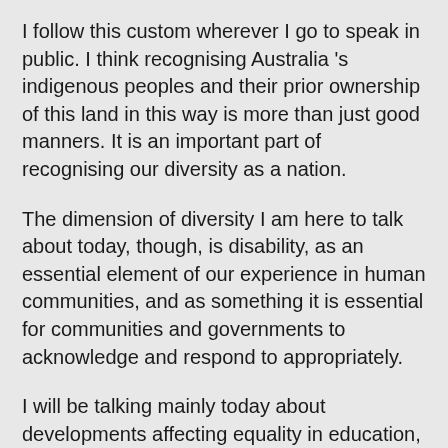I follow this custom wherever I go to speak in public. I think recognising Australia 's indigenous peoples and their prior ownership of this land in this way is more than just good manners. It is an important part of recognising our diversity as a nation.
The dimension of diversity I am here to talk about today, though, is disability, as an essential element of our experience in human communities, and as something it is essential for communities and governments to acknowledge and respond to appropriately.
I will be talking mainly today about developments affecting equality in education, and in particular about the new Disability Standards for education which have come into force just this month.
But I want to start by talking about the Disability